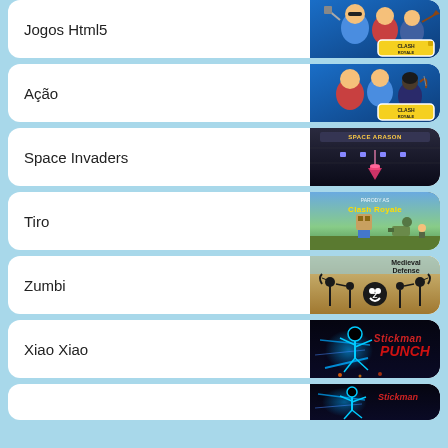Jogos Html5
[Figure (screenshot): Clash Royale game banner with cartoon characters]
Ação
[Figure (screenshot): Clash Royale game banner with cartoon characters]
Space Invaders
[Figure (screenshot): Space Invaders game screenshot with spacecraft]
Tiro
[Figure (screenshot): Clash Royale inspired pixel art game screenshot]
Zumbi
[Figure (screenshot): Medieval Defense game banner with zombie skull]
Xiao Xiao
[Figure (screenshot): Stickman Punch game banner]